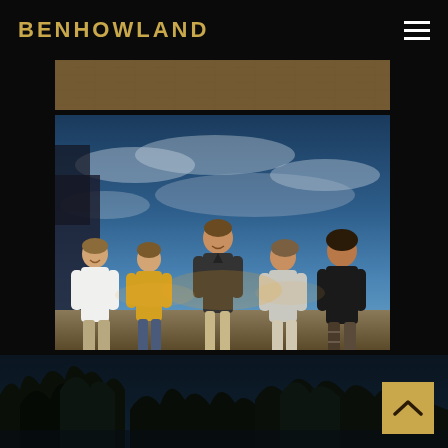BENHOWLAND
[Figure (photo): Top banner showing a stone/brick wall texture with warm brown tones]
[Figure (photo): A band of five young men sitting outdoors against a dramatic blue sky with clouds. From left to right: one in white t-shirt, one in yellow t-shirt, one in dark grey t-shirt (center), one in light grey t-shirt, one in black t-shirt. Photographed from a low angle.]
[Figure (photo): Dark silhouette of trees against a dark blue night sky, bottom portion of the page]